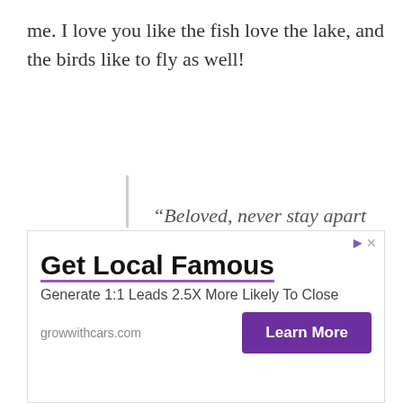me. I love you like the fish love the lake, and the birds like to fly as well!
“Beloved, never stay apart from me because you are the life in my body, so I can’t be alive without you!
Most touching love messages
[Figure (other): Advertisement banner: Get Local Famous. Generate 1:1 Leads 2.5X More Likely To Close. growwithcars.com. Learn More button.]